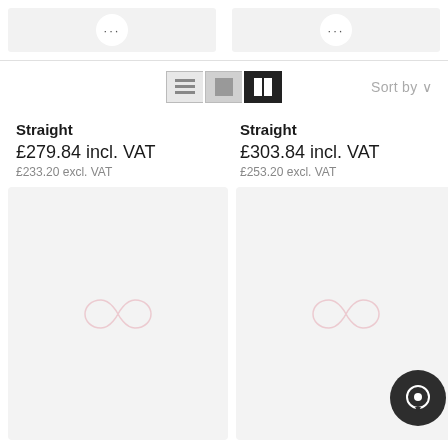[Figure (screenshot): Top section showing two product card placeholders with three-dot menu icons, partially visible]
[Figure (infographic): Toolbar with three view-mode icons (list, grid-small, grid-large) and Sort by dropdown on right]
Straight
£279.84 incl. VAT
£233.20 excl. VAT
Straight
£303.84 incl. VAT
£253.20 excl. VAT
[Figure (illustration): Two product placeholder cards with pink infinity/loop logo watermark centered, and a chat button overlay on bottom right]